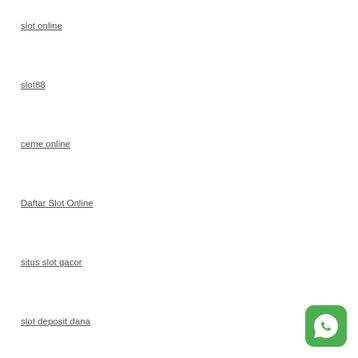slot online
slot88
ceme online
Daftar Slot Online
situs slot gacor
slot deposit dana
[Figure (logo): WhatsApp green icon with white speech bubble and phone handset]